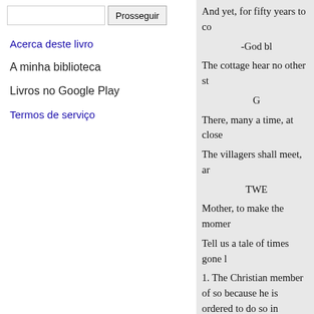[search input] Prosseguir
Acerca deste livro
A minha biblioteca
Livros no Google Play
Termos de serviço
And yet, for fifty years to c
-God bl
The cottage hear no other st
G
There, many a time, at close
The villagers shall meet, ar
TWE
Mother, to make the momer
Tell us a tale of times gone l
1. The Christian member of so because he is ordered to do so in
Bible, where we are told to “R
the things that are Cæsar’s, and t
that are God’s ;” and to “ Owe no
2. The Christian hears the Eigh
ment every Sunday, “ Thou shalt